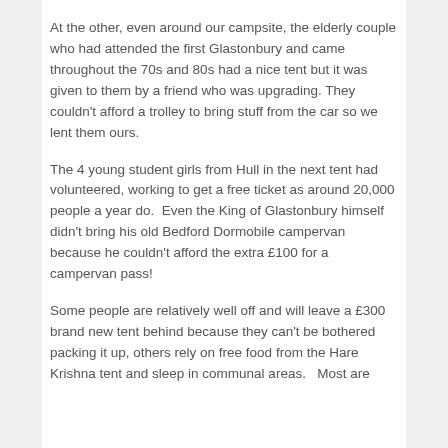At the other, even around our campsite, the elderly couple who had attended the first Glastonbury and came throughout the 70s and 80s had a nice tent but it was given to them by a friend who was upgrading. They couldn't afford a trolley to bring stuff from the car so we lent them ours.
The 4 young student girls from Hull in the next tent had volunteered, working to get a free ticket as around 20,000 people a year do.  Even the King of Glastonbury himself didn't bring his old Bedford Dormobile campervan because he couldn't afford the extra £100 for a campervan pass!
Some people are relatively well off and will leave a £300 brand new tent behind because they can't be bothered packing it up, others rely on free food from the Hare Krishna tent and sleep in communal areas.   Most are